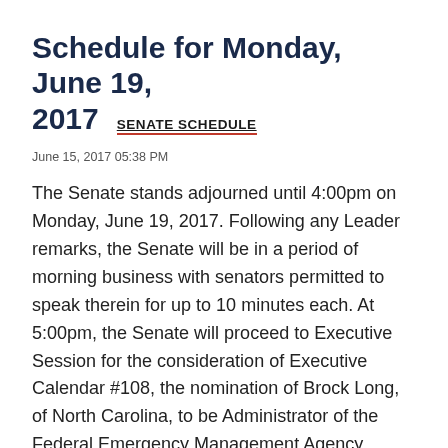Schedule for Monday, June 19, 2017   SENATE SCHEDULE
June 15, 2017 05:38 PM
The Senate stands adjourned until 4:00pm on Monday, June 19, 2017. Following any Leader remarks, the Senate will be in a period of morning business with senators permitted to speak therein for up to 10 minutes each. At 5:00pm, the Senate will proceed to Executive Session for the consideration of Executive Calendar #108, the nomination of Brock Long, of North Carolina, to be Administrator of the Federal Emergency Management Agency. There will be up to 30 minutes for debate equally divided …